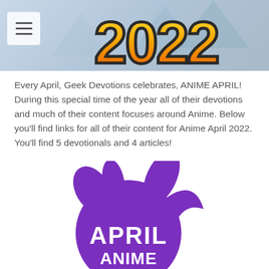[Figure (illustration): Banner image showing '2022' text in large orange/yellow gradient bold font with dark outlines, set against a light blue-gray background with anime-style geometric shapes. A white menu icon with three horizontal lines appears in the top-left corner.]
Every April, Geek Devotions celebrates, ANIME APRIL! During this special time of the year all of their devotions and much of their content focuses around Anime. Below you'll find links for all of their content for Anime April 2022. You'll find 5 devotionals and 4 articles!
[Figure (logo): Purple circular logo with anime-style spiky hair silhouette. The text 'APRIL' appears in large white letters inside the circle, with additional text partially visible below it. The logo is styled in a bold purple color on white background.]